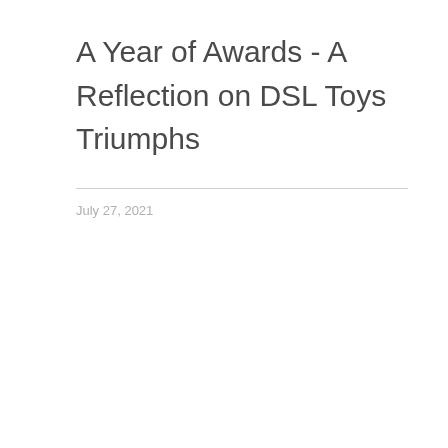A Year of Awards - A Reflection on DSL Toys Triumphs
July 27, 2021